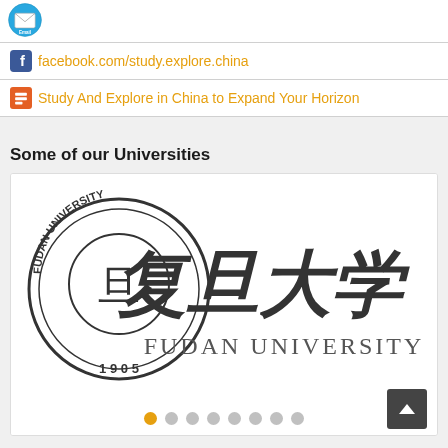[Figure (logo): Email icon (blue circular icon with envelope and Email label)]
facebook.com/study.explore.china
Study And Explore in China to Expand Your Horizon
Some of our Universities
[Figure (logo): Fudan University logo with circular seal (1905) and Chinese calligraphy text 复旦大学 alongside FUDAN UNIVERSITY text, with slideshow navigation dots and scroll-up button]